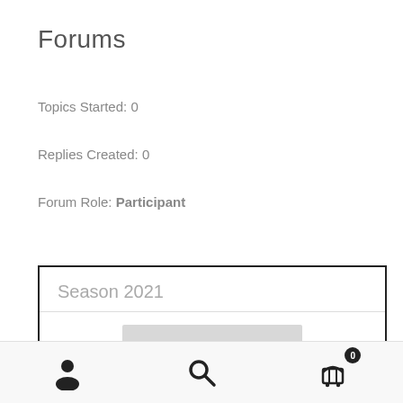Forums
Topics Started: 0
Replies Created: 0
Forum Role: Participant
Season 2021
Navigation bar with user, search, and cart (0) icons